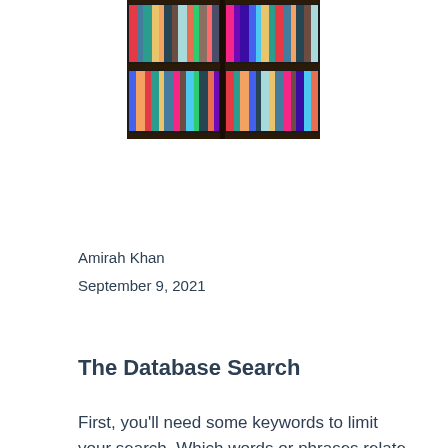[Figure (photo): Photo of colorful books on dark wooden bookshelves, multiple rows of books visible]
Amirah Khan
September 9, 2021
The Database Search
First, you'll need some keywords to limit your search. Which words or phrases relate best to the information you want to find? If your keywords are too broad, you may get too many results.